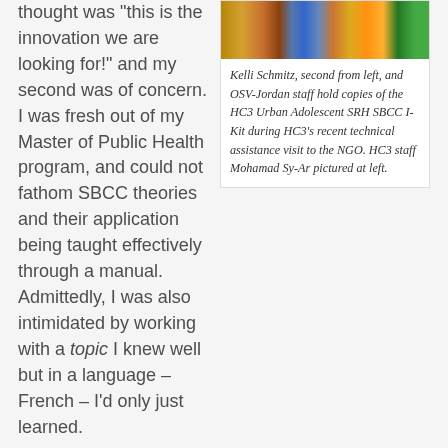[Figure (photo): Group photo of Kelli Schmitz and OSV-Jordan staff holding copies of the HC3 Urban Adolescent SRH SBCC I-Kit]
Kelli Schmitz, second from left, and OSV-Jordan staff hold copies of the HC3 Urban Adolescent SRH SBCC I-Kit during HC3's recent technical assistance visit to the NGO. HC3 staff Mohamad Sy-Ar pictured at left.
thought was “this is the innovation we are looking for!” and my second was of concern. I was fresh out of my Master of Public Health program, and could not fathom SBCC theories and their application being taught effectively through a manual. Admittedly, I was also intimidated by working with a topic I knew well but in a language – French – I’d only just learned.
Fast forward four months and I am a full believer